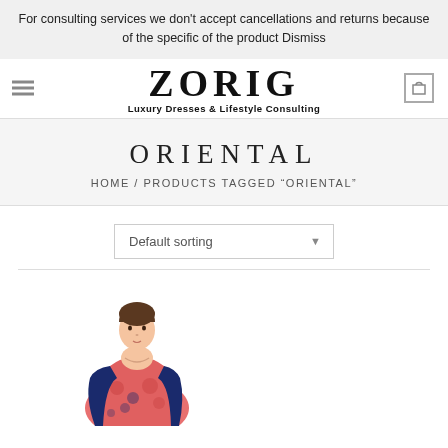For consulting services we don't accept cancellations and returns because of the specific of the product Dismiss
[Figure (logo): ZORIG logo with tagline Luxury Dresses & Lifestyle Consulting]
ORIENTAL
HOME / PRODUCTS TAGGED “ORIENTAL”
[Figure (other): Default sorting dropdown selector]
[Figure (photo): Woman wearing a pink and navy oriental print dress, waist-up photo]